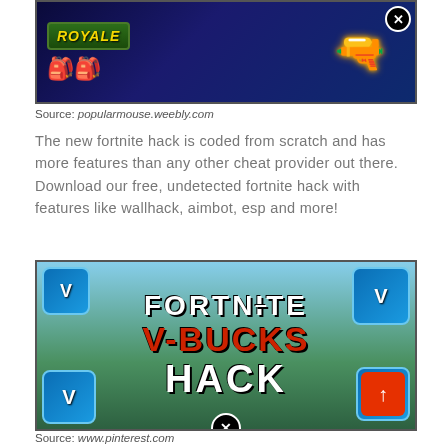[Figure (screenshot): Fortnite Battle Royale game screenshot with ROYALE text, weapons, and bags on dark blue background with close button]
Source: popularmouse.weebly.com
The new fortnite hack is coded from scratch and has more features than any other cheat provider out there. Download our free, undetected fortnite hack with features like wallhack, aimbot, esp and more!
[Figure (screenshot): Fortnite V-Bucks Hack promotional image with FORTNITE, V-BUCKS, HACK text overlaid on game landscape with V-Bucks currency icons in corners]
Source: www.pinterest.com